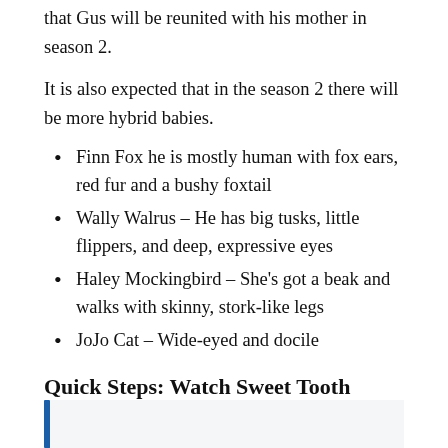that Gus will be reunited with his mother in season 2.
It is also expected that in the season 2 there will be more hybrid babies.
Finn Fox he is mostly human with fox ears, red fur and a bushy foxtail
Wally Walrus – He has big tusks, little flippers, and deep, expressive eyes
Haley Mockingbird – She's got a beak and walks with skinny, stork-like legs
JoJo Cat – Wide-eyed and docile
Quick Steps: Watch Sweet Tooth Season 2 Online from New Zealand via VPN in 2022?